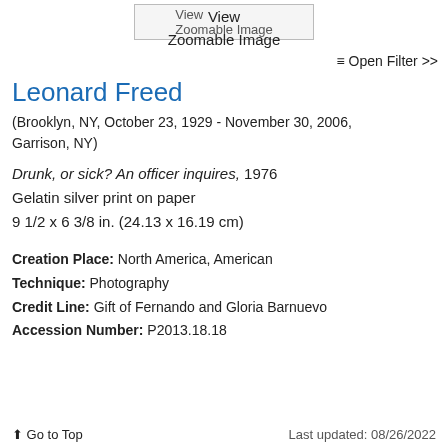[Figure (other): View Zoomable Image button/link at top center of page]
≡ Open Filter >>
Leonard Freed
(Brooklyn, NY, October 23, 1929 - November 30, 2006, Garrison, NY)
Drunk, or sick? An officer inquires, 1976
Gelatin silver print on paper
9 1/2 x 6 3/8 in. (24.13 x 16.19 cm)
Creation Place: North America, American
Technique: Photography
Credit Line: Gift of Fernando and Gloria Barnuevo
Accession Number: P2013.18.18
⬆ Go to Top   Last updated: 08/26/2022